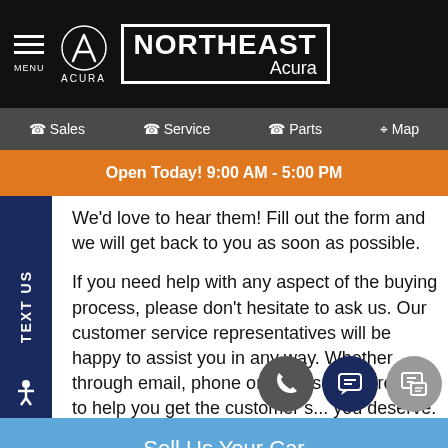MENU | ACURA | NORTHEAST Acura
Sales | Service | Parts | Map
Open Today! 9:00 AM - 5:00 PM
We'd love to hear them! Fill out the form and we will get back to you as soon as possible.

If you need help with any aspect of the buying process, please don't hesitate to ask us. Our customer service representatives will be happy to assist you in any way. Whether through email, phone or in person, we're here to help you get the customer service you deserve.
TEXT US
Sell Us Your Car